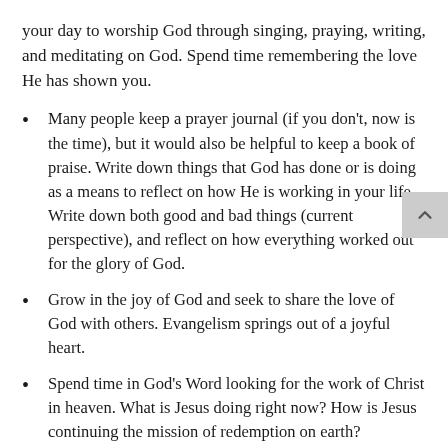your day to worship God through singing, praying, writing, and meditating on God. Spend time remembering the love He has shown you.
Many people keep a prayer journal (if you don't, now is the time), but it would also be helpful to keep a book of praise. Write down things that God has done or is doing as a means to reflect on how He is working in your life. Write down both good and bad things (current perspective), and reflect on how everything worked out for the glory of God.
Grow in the joy of God and seek to share the love of God with others. Evangelism springs out of a joyful heart.
Spend time in God's Word looking for the work of Christ in heaven. What is Jesus doing right now? How is Jesus continuing the mission of redemption on earth?
PRAYER